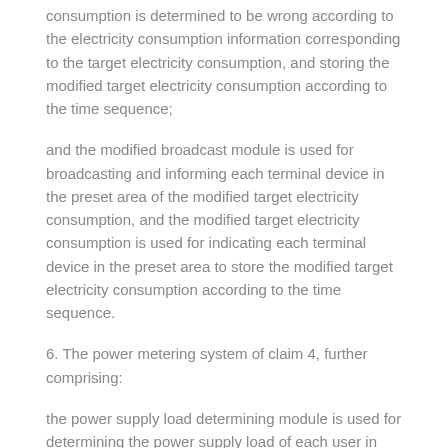consumption is determined to be wrong according to the electricity consumption information corresponding to the target electricity consumption, and storing the modified target electricity consumption according to the time sequence;
and the modified broadcast module is used for broadcasting and informing each terminal device in the preset area of the modified target electricity consumption, and the modified target electricity consumption is used for indicating each terminal device in the preset area to store the modified target electricity consumption according to the time sequence.
6. The power metering system of claim 4, further comprising:
the power supply load determining module is used for determining the power supply load of each user in the preset area according to the power utilization information and storing the power supply load according to a time sequence;
and the power supply load broadcasting module is used for